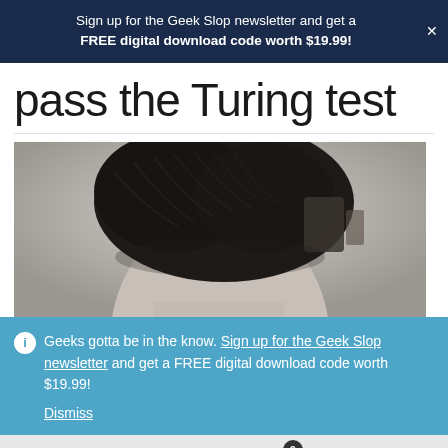Sign up for the Geek Slop newsletter and get a FREE digital download code worth $19.99!
pass the Turing test
[Figure (photo): Black and white close-up photograph of a man's hair and partial face/head from above]
Geeks gotta be in the know. Sign up for the Geek Slop newsletter and get a FREE digital download code worth $19.99! Dismiss
User icon, Search icon, Cart (0)